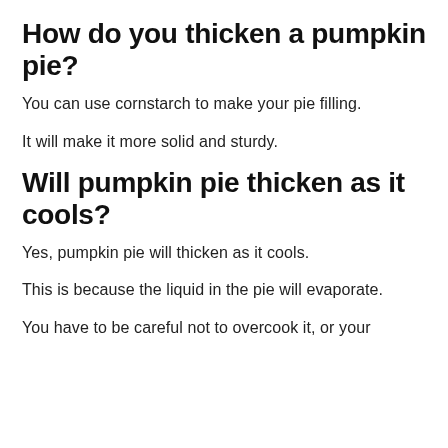How do you thicken a pumpkin pie?
You can use cornstarch to make your pie filling.
It will make it more solid and sturdy.
Will pumpkin pie thicken as it cools?
Yes, pumpkin pie will thicken as it cools.
This is because the liquid in the pie will evaporate.
You have to be careful not to overcook it, or your